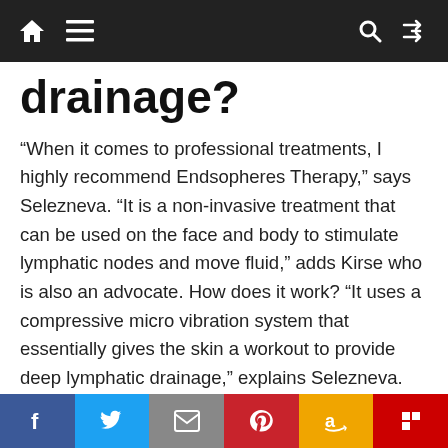Navigation bar with home, menu, search, and shuffle icons
drainage?
“When it comes to professional treatments, I highly recommend Endsopheres Therapy,” says Selezneva. “It is a non-invasive treatment that can be used on the face and body to stimulate lymphatic nodes and move fluid,” adds Kirse who is also an advocate. How does it work? “It uses a compressive micro vibration system that essentially gives the skin a workout to provide deep lymphatic drainage,” explains Selezneva. It’s pain-free, has zero downtime, and feels like a firm massage.
Social share buttons: Facebook, Twitter, Email, Pinterest, Amazon, Flipboard